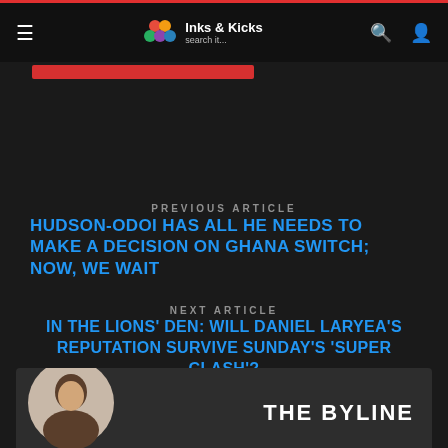Inks & Kicks — search it...
PREVIOUS ARTICLE
HUDSON-ODOI HAS ALL HE NEEDS TO MAKE A DECISION ON GHANA SWITCH; NOW, WE WAIT
NEXT ARTICLE
IN THE LIONS' DEN: WILL DANIEL LARYEA'S REPUTATION SURVIVE SUNDAY'S 'SUPER CLASH'?
THE BYLINE